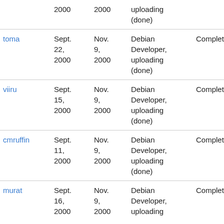|  | 2000 | 2000 | uploading (done) |  |  |
| toma | Sept. 22, 2000 | Nov. 9, 2000 | Debian Developer, uploading (done) | Completed | tbm |
| viiru | Sept. 15, 2000 | Nov. 9, 2000 | Debian Developer, uploading (done) | Completed | tbm |
| cmruffin | Sept. 11, 2000 | Nov. 9, 2000 | Debian Developer, uploading (done) | Completed | tbm |
| murat | Sept. 16, 2000 | Nov. 9, 2000 | Debian Developer, uploading | Completed | tbm |